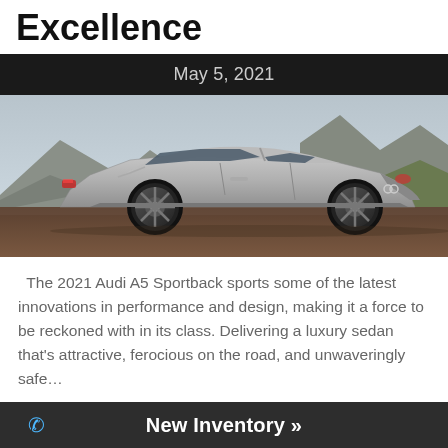Excellence
May 5, 2021
[Figure (photo): Side profile of a silver 2021 Audi A5 Sportback parked on a dirt road with dramatic rocky mountains in the background]
The 2021 Audi A5 Sportback sports some of the latest innovations in performance and design, making it a force to be reckoned with in its class. Delivering a luxury sedan that's attractive, ferocious on the road, and unwaveringly safe…
Continue Reading →
New Inventory »